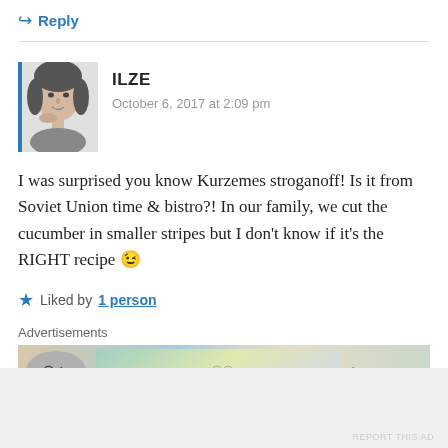↪ Reply
[Figure (photo): Black and white portrait photo of a woman with dark hair, resting her chin on her hand. Blue vertical bar on left side of photo.]
ILZE
October 6, 2017 at 2:09 pm
I was surprised you know Kurzemes stroganoff! Is it from Soviet Union time & bistro?! In our family, we cut the cucumber in smaller stripes but I don't know if it's the RIGHT recipe 😉
★ Liked by 1 person
Advertisements
[Figure (screenshot): Advertisement banner showing logos and text including 'vin' and 'Learn more' with colorful background.]
Advertisements